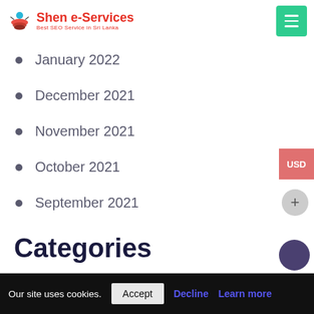Shen e-Services — Best SEO Service in Sri Lanka
January 2022
December 2021
November 2021
October 2021
September 2021
Categories
Creative-Design
Our site uses cookies. Accept Decline Learn more